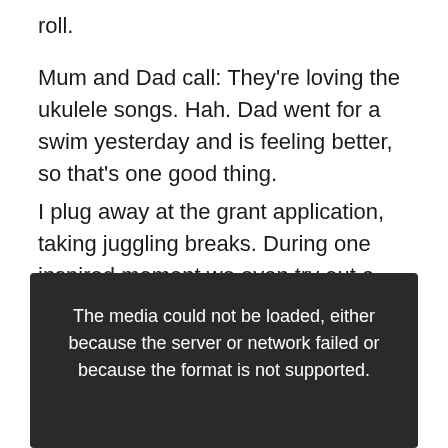roll.
Mum and Dad call: They're loving the ukulele songs. Hah. Dad went for a swim yesterday and is feeling better, so that's one good thing.
I plug away at the grant application, taking juggling breaks. During one inspired moment we even try out a five-ball two-person routine and manage to get four or five catches – amazing!
[Figure (screenshot): Dark media player box showing error message: 'The media could not be loaded, either because the server or network failed or because the format is not supported.']